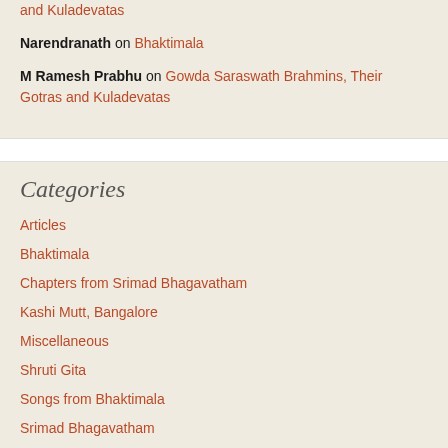and Kuladevatas
Narendranath on Bhaktimala
M Ramesh Prabhu on Gowda Saraswath Brahmins, Their Gotras and Kuladevatas
Categories
Articles
Bhaktimala
Chapters from Srimad Bhagavatham
Kashi Mutt, Bangalore
Miscellaneous
Shruti Gita
Songs from Bhaktimala
Srimad Bhagavatham